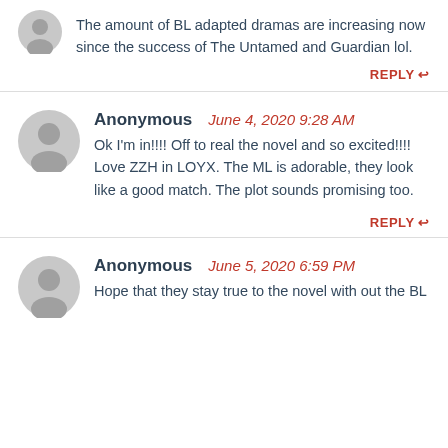The amount of BL adapted dramas are increasing now since the success of The Untamed and Guardian lol.
REPLY
Anonymous   June 4, 2020 9:28 AM
Ok I'm in!!!! Off to real the novel and so excited!!!! Love ZZH in LOYX. The ML is adorable, they look like a good match. The plot sounds promising too.
REPLY
Anonymous   June 5, 2020 6:59 PM
Hope that they stay true to the novel with out the BL